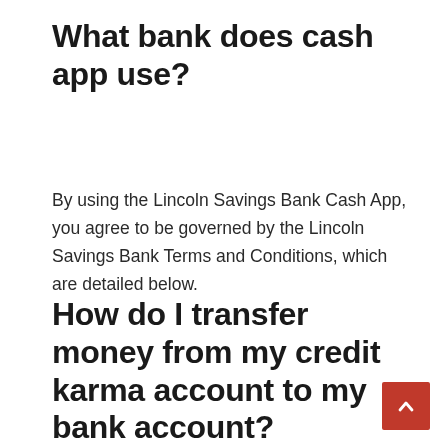What bank does cash app use?
By using the Lincoln Savings Bank Cash App, you agree to be governed by the Lincoln Savings Bank Terms and Conditions, which are detailed below.
How do I transfer money from my credit karma account to my bank account?
You may transfer money between your Credit Karma Money Save and S...